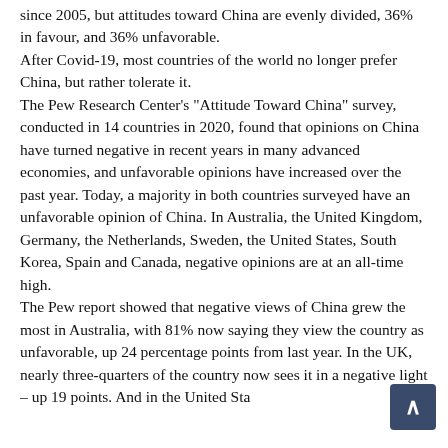since 2005, but attitudes toward China are evenly divided, 36% in favour, and 36% unfavorable. After Covid-19, most countries of the world no longer prefer China, but rather tolerate it. The Pew Research Center's "Attitude Toward China" survey, conducted in 14 countries in 2020, found that opinions on China have turned negative in recent years in many advanced economies, and unfavorable opinions have increased over the past year. Today, a majority in both countries surveyed have an unfavorable opinion of China. In Australia, the United Kingdom, Germany, the Netherlands, Sweden, the United States, South Korea, Spain and Canada, negative opinions are at an all-time high. The Pew report showed that negative views of China grew the most in Australia, with 81% now saying they view the country as unfavorable, up 24 percentage points from last year. In the UK, nearly three-quarters of the country now sees it in a negative light – up 19 points. And in the United States, negative opinions about China have risen as well...